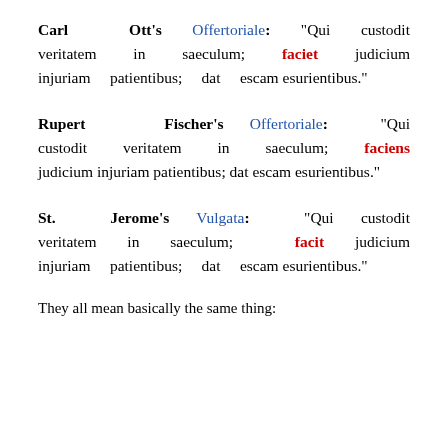Carl Ott's Offertoriale: “Qui custodit veritatem in saeculum; faciet judicium injuriam patientibus; dat escam esurientibus.”
Rupert Fischer’s Offertoriale: “Qui custodit veritatem in saeculum; faciens judicium injuriam patientibus; dat escam esurientibus.”
St. Jerome’s Vulgata: “Qui custodit veritatem in saeculum; facit judicium injuriam patientibus; dat escam esurientibus.”
They all mean basically the same thing: